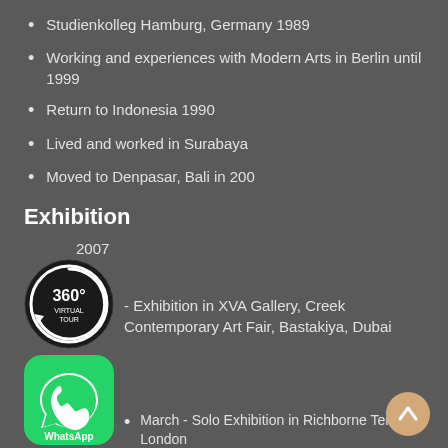Studienkolleg Hamburg, Germany 1989
Working and experiences with Modern Arts in Berlin until 1999
Return to Indonesia 1990
Lived and worked in Surabaya
Moved to Denpasar, Bali in 200
Exhibition
2007
[Figure (logo): 360 Virtual Tour circular icon with arrow]
- Exhibition in XVA Gallery, Creek Contemporary Art Fair, Bastakiya, Dubai
[Figure (logo): WhatsApp green icon with phone handset]
March - Solo Exhibition in Richborne Terrace, London